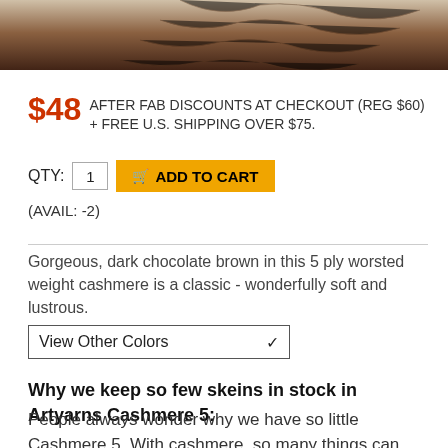[Figure (photo): Close-up photo of a dark chocolate brown skein of cashmere yarn, partially cropped at top]
$48 AFTER FAB DISCOUNTS AT CHECKOUT (REG $60) + FREE U.S. SHIPPING OVER $75.
QTY: 1  ADD TO CART
(AVAIL: -2)
Gorgeous, dark chocolate brown in this 5 ply worsted weight cashmere is a classic - wonderfully soft and lustrous.
View Other Colors
Why we keep so few skeins in stock in Artyarns Cashmere 5:
People always wonder why we have so little Cashmere 5. With cashmere, so many things can affect the color that we usually have almost every order dyed to match. If you want 3 or more of any color, there is a good chance we'll have to rush order it for you - which is totally what we do. Don't be daunted by the fact that we are 'low'